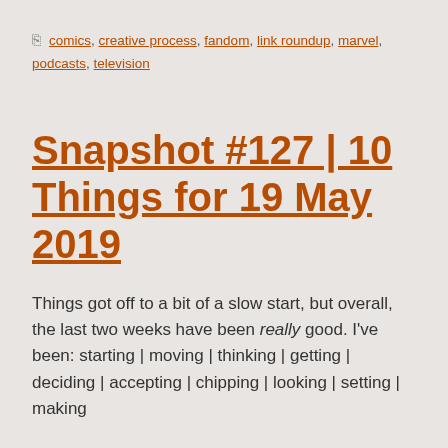comics, creative process, fandom, link roundup, marvel, podcasts, television
Snapshot #127 | 10 Things for 19 May 2019
Things got off to a bit of a slow start, but overall, the last two weeks have been really good. I've been: starting | moving | thinking | getting | deciding | accepting | chipping | looking | setting | making